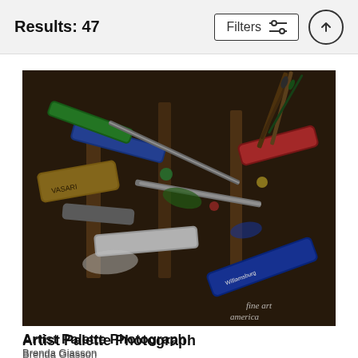Results: 47
Filters
[Figure (photo): A wooden box filled with used, paint-covered artist paint tubes (Vasari, Williamsburg and others), brushes and palette knives, all heavily stained with oil paint in various colors including blue, green, red and white. A watermark reads 'fine art america' in the lower right corner.]
Artist Palette Photograph
Brenda Giasson
$27